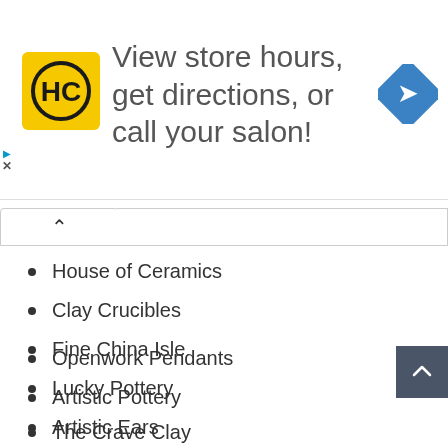[Figure (logo): HC hair salon logo - yellow square with HC letters in black circle]
View store hours, get directions, or call your salon!
[Figure (illustration): Blue diamond navigation/directions icon with right-turn arrow]
House of Ceramics
Clay Crucibles
Fine China Isle
Lucky Pottery
Artistic Ears
Creative Arts
Clay Face Masks
Openwork Pendants
Artistic Pottery
The Crave Clay